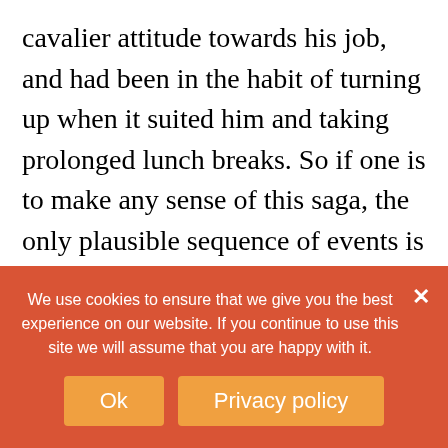cavalier attitude towards his job, and had been in the habit of turning up when it suited him and taking prolonged lunch breaks. So if one is to make any sense of this saga, the only plausible sequence of events is roughly as follows:

Having enjoyed an extended luncheon in a decent restaurant, Sitwell returns to his office in a carefree mood, there to find a pitch from a female vegan waiting for him in the in-box of his computer. He doesn't
[Figure (screenshot): Cookie consent banner with orange-red background. Text: 'We use cookies to ensure that we give you the best experience on our website. If you continue to use this site we will assume that you are happy with it.' Two buttons: 'Ok' and 'Privacy policy', and a close (×) button.]